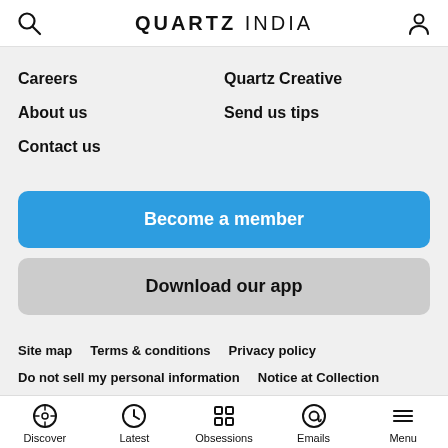QUARTZ INDIA
Careers
Quartz Creative
About us
Send us tips
Contact us
Become a member
Download our app
Site map   Terms & conditions   Privacy policy
Do not sell my personal information   Notice at Collection
Ethics and advertising agreements   Licensing
© 2022 G/O Media, Inc.
Discover   Latest   Obsessions   Emails   Menu